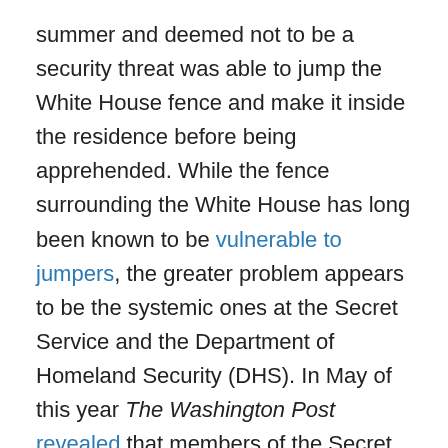summer and deemed not to be a security threat was able to jump the White House fence and make it inside the residence before being apprehended. While the fence surrounding the White House has long been known to be vulnerable to jumpers, the greater problem appears to be the systemic ones at the Secret Service and the Department of Homeland Security (DHS). In May of this year The Washington Post revealed that members of the Secret Service's elite Prowler unit, which is tasked with patrolling the White House, were ordered by the agency director to abandon their post to watch his personal friend for two months in 2011. The detail, known as Operation Moonlight, sent the agents to a Maryland suburb, nearly an hour's drive from the White House. The agents involved were concerned about the legality of their re-assignment, and some reported the issue to the DHS, the